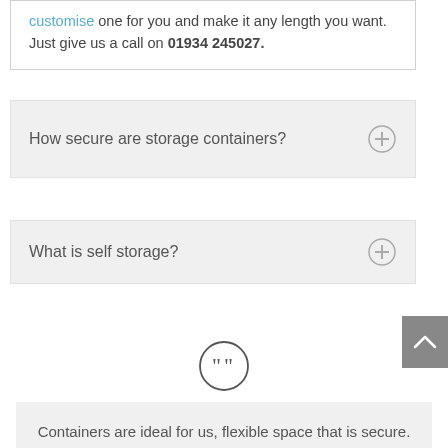customise one for you and make it any length you want. Just give us a call on 01934 245027.
How secure are storage containers?
What is self storage?
Containers are ideal for us, flexible space that is secure. We use up to 23 containers and